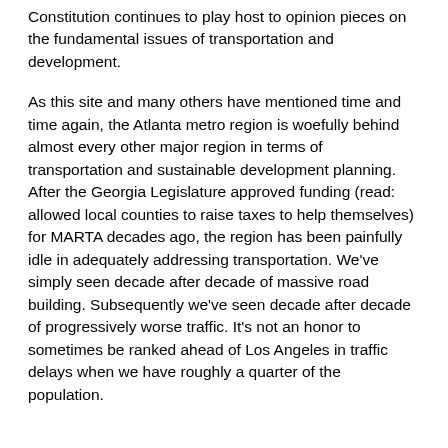Constitution continues to play host to opinion pieces on the fundamental issues of transportation and development.
As this site and many others have mentioned time and time again, the Atlanta metro region is woefully behind almost every other major region in terms of transportation and sustainable development planning. After the Georgia Legislature approved funding (read: allowed local counties to raise taxes to help themselves) for MARTA decades ago, the region has been painfully idle in adequately addressing transportation. We've simply seen decade after decade of massive road building. Subsequently we've seen decade after decade of progressively worse traffic. It's not an honor to sometimes be ranked ahead of Los Angeles in traffic delays when we have roughly a quarter of the population.